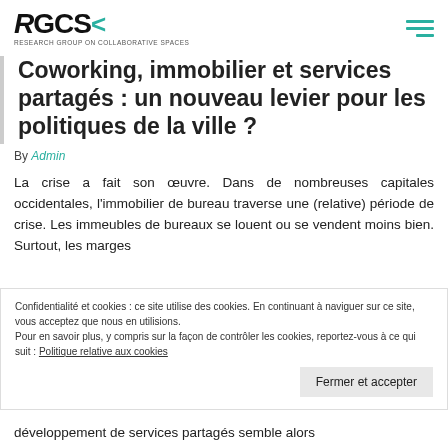RGCS Research Group on Collaborative Spaces
Coworking, immobilier et services partagés : un nouveau levier pour les politiques de la ville ?
By Admin
La crise a fait son œuvre. Dans de nombreuses capitales occidentales, l'immobilier de bureau traverse une (relative) période de crise. Les immeubles de bureaux se louent ou se vendent moins bien. Surtout, les marges
Confidentialité et cookies : ce site utilise des cookies. En continuant à naviguer sur ce site, vous acceptez que nous en utilisions. Pour en savoir plus, y compris sur la façon de contrôler les cookies, reportez-vous à ce qui suit : Politique relative aux cookies
Fermer et accepter
développement de services partagés semble alors